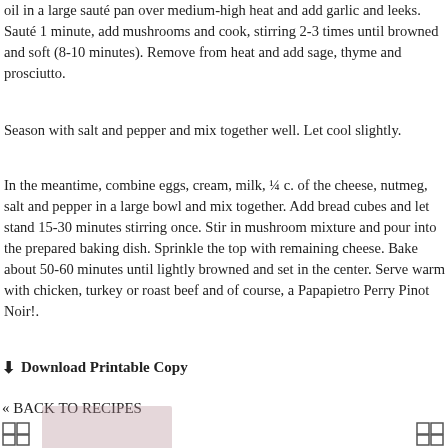oil in a large sauté pan over medium-high heat and add garlic and leeks. Sauté 1 minute, add mushrooms and cook, stirring 2-3 times until browned and soft (8-10 minutes). Remove from heat and add sage, thyme and prosciutto.
Season with salt and pepper and mix together well. Let cool slightly.
In the meantime, combine eggs, cream, milk, ¼ c. of the cheese, nutmeg, salt and pepper in a large bowl and mix together. Add bread cubes and let stand 15-30 minutes stirring once. Stir in mushroom mixture and pour into the prepared baking dish. Sprinkle the top with remaining cheese. Bake about 50-60 minutes until lightly browned and set in the center. Serve warm with chicken, turkey or roast beef and of course, a Papapietro Perry Pinot Noir!.
⬇ Download Printable Copy
« BACK TO RECIPES